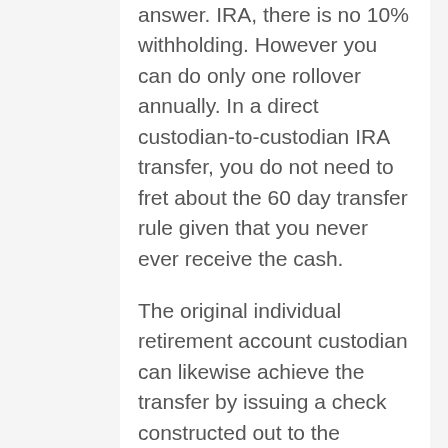answer. IRA, there is no 10% withholding. However you can do only one rollover annually. In a direct custodian-to-custodian IRA transfer, you do not need to fret about the 60 day transfer rule given that you never ever receive the cash.
The original individual retirement account custodian can likewise achieve the transfer by issuing a check constructed out to the custodian of the receiving individual retirement account and mailing it out. This is the simplest way to purchase gold through your IRA given that it is all managed in the background by your existing and new custodian.